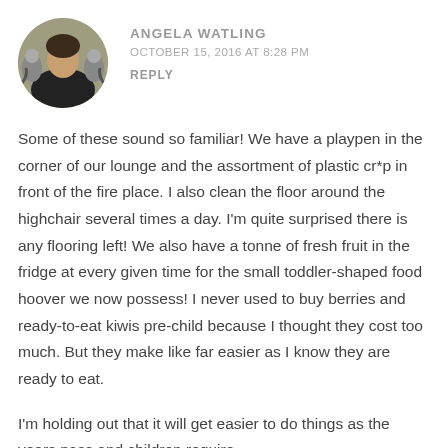[Figure (photo): Circular avatar photo of Angela Watling with animals (lemurs) in background]
ANGELA WATLING
OCTOBER 15, 2016 AT 8:28 PM
REPLY
Some of these sound so familiar! We have a playpen in the corner of our lounge and the assortment of plastic cr*p in front of the fire place. I also clean the floor around the highchair several times a day. I'm quite surprised there is any flooring left! We also have a tonne of fresh fruit in the fridge at every given time for the small toddler-shaped food hoover we now possess! I never used to buy berries and ready-to-eat kiwis pre-child because I thought they cost too much. But they make like far easier as I know they are ready to eat.
I'm holding out that it will get easier to do things as the years pass and children require